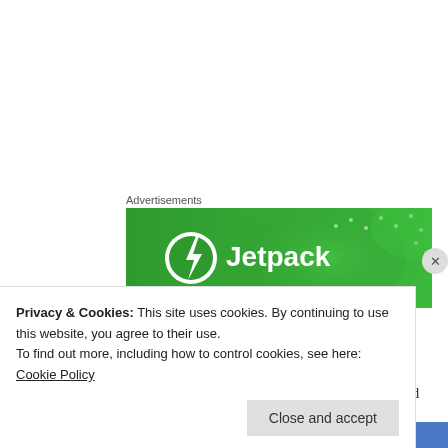Advertisements
[Figure (logo): Jetpack advertisement banner with green gradient background and white Jetpack logo]
We found Choice Batter at Target.
On the top of the box it states it is USDA patented batter.
Five guys with a fryer founded Crisp Tek in response
Privacy & Cookies: This site uses cookies. By continuing to use this website, you agree to their use.
To find out more, including how to control cookies, see here: Cookie Policy
Close and accept